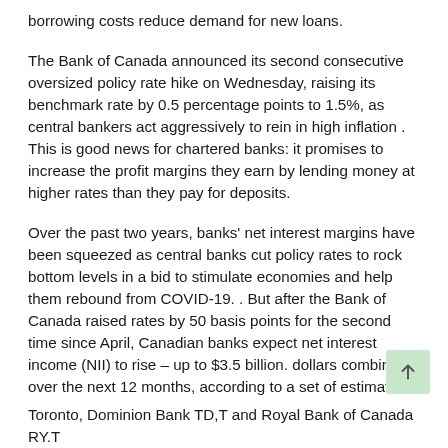borrowing costs reduce demand for new loans.
The Bank of Canada announced its second consecutive oversized policy rate hike on Wednesday, raising its benchmark rate by 0.5 percentage points to 1.5%, as central bankers act aggressively to rein in high inflation . This is good news for chartered banks: it promises to increase the profit margins they earn by lending money at higher rates than they pay for deposits.
Over the past two years, banks' net interest margins have been squeezed as central banks cut policy rates to rock bottom levels in a bid to stimulate economies and help them rebound from COVID-19. . But after the Bank of Canada raised rates by 50 basis points for the second time since April, Canadian banks expect net interest income (NII) to rise – up to $3.5 billion. dollars combined over the next 12 months, according to a set of estimates.
Toronto, Dominion Bank TD, T and Royal Bank of Canada RY.T